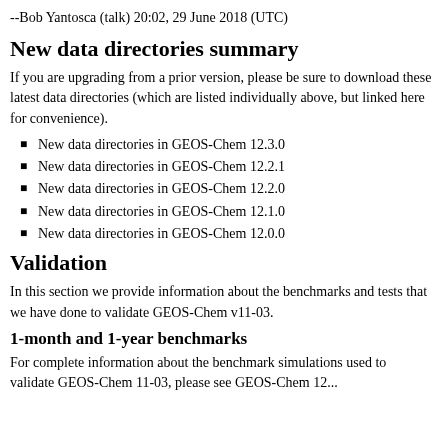--Bob Yantosca (talk) 20:02, 29 June 2018 (UTC)
New data directories summary
If you are upgrading from a prior version, please be sure to download these latest data directories (which are listed individually above, but linked here for convenience).
New data directories in GEOS-Chem 12.3.0
New data directories in GEOS-Chem 12.2.1
New data directories in GEOS-Chem 12.2.0
New data directories in GEOS-Chem 12.1.0
New data directories in GEOS-Chem 12.0.0
Validation
In this section we provide information about the benchmarks and tests that we have done to validate GEOS-Chem v11-03.
1-month and 1-year benchmarks
For complete information about the benchmark simulations used to validate GEOS-Chem 11-03, please see GEOS-Chem 12...